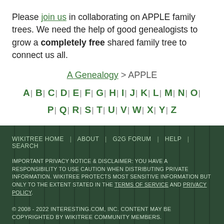Please join us in collaborating on APPLE family trees. We need the help of good genealogists to grow a completely free shared family tree to connect us all.
A Genealogy > APPLE
A | B | C | D | E | F | G | H | I | J | K | L | M | N | O | P | Q | R | S | T | U | V | W | X | Y | Z
WIKITREE HOME | ABOUT | G2G FORUM | HELP | SEARCH
IMPORTANT PRIVACY NOTICE & DISCLAIMER: YOU HAVE A RESPONSIBILITY TO USE CAUTION WHEN DISTRIBUTING PRIVATE INFORMATION. WIKITREE PROTECTS MOST SENSITIVE INFORMATION BUT ONLY TO THE EXTENT STATED IN THE TERMS OF SERVICE AND PRIVACY POLICY.
© 2008 - 2022 INTERESTING.COM, INC. CONTENT MAY BE COPYRIGHTED BY WIKITREE COMMUNITY MEMBERS.